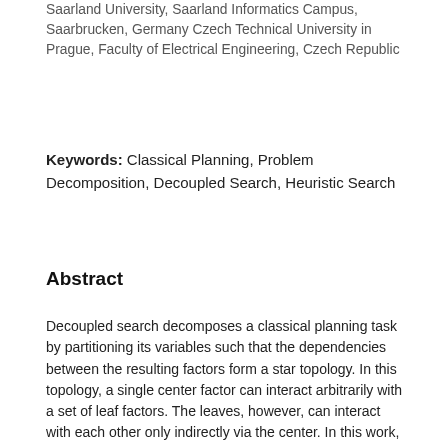Saarland University, Saarland Informatics Campus, Saarbrucken, Germany Czech Technical University in Prague, Faculty of Electrical Engineering, Czech Republic
Keywords: Classical Planning, Problem Decomposition, Decoupled Search, Heuristic Search
Abstract
Decoupled search decomposes a classical planning task by partitioning its variables such that the dependencies between the resulting factors form a star topology. In this topology, a single center factor can interact arbitrarily with a set of leaf factors. The leaves, however, can interact with each other only indirectly via the center. In this work, we generalize this structural requirement and allow arbitrary topologies. The components must not overlap, i.e., each state variable is assigned to exactly one factor, but the interaction between factors is not restricted. We show how this generalization is connected to star topologies, which implies the correctness of the resulting algorithm in terms of the planning task.